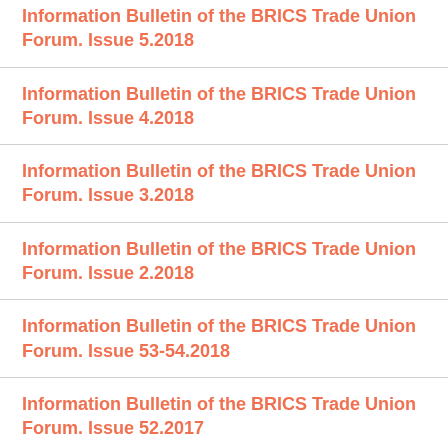Information Bulletin of the BRICS Trade Union Forum. Issue 5.2018
Information Bulletin of the BRICS Trade Union Forum. Issue 4.2018
Information Bulletin of the BRICS Trade Union Forum. Issue 3.2018
Information Bulletin of the BRICS Trade Union Forum. Issue 2.2018
Information Bulletin of the BRICS Trade Union Forum. Issue 53-54.2018
Information Bulletin of the BRICS Trade Union Forum. Issue 52.2017